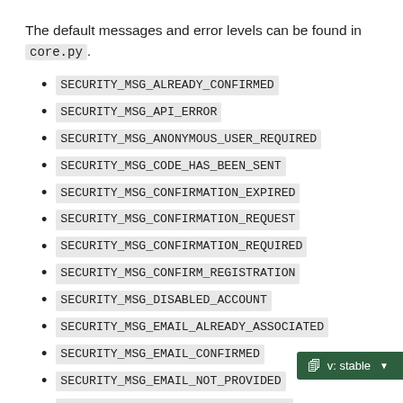The default messages and error levels can be found in core.py.
SECURITY_MSG_ALREADY_CONFIRMED
SECURITY_MSG_API_ERROR
SECURITY_MSG_ANONYMOUS_USER_REQUIRED
SECURITY_MSG_CODE_HAS_BEEN_SENT
SECURITY_MSG_CONFIRMATION_EXPIRED
SECURITY_MSG_CONFIRMATION_REQUEST
SECURITY_MSG_CONFIRMATION_REQUIRED
SECURITY_MSG_CONFIRM_REGISTRATION
SECURITY_MSG_DISABLED_ACCOUNT
SECURITY_MSG_EMAIL_ALREADY_ASSOCIATED
SECURITY_MSG_EMAIL_CONFIRMED
SECURITY_MSG_EMAIL_NOT_PROVIDED
SECURITY_MSG_FAILED_TO_SEND_CODE
SECURITY_MSG_FORGOT_PASSWORD
SECURITY_MSG_GENERIC_AUTHN_FAILED
SECURITY_MSG_GENERIC_RECOVERY